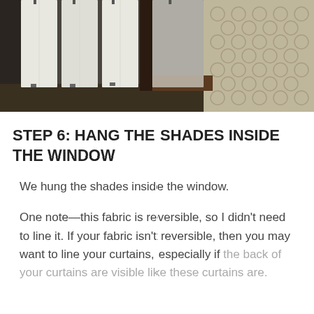[Figure (photo): Photo of white Roman shades hung inside a window frame, with a patterned lace curtain visible to the right side and a dark window frame in the background.]
STEP 6: HANG THE SHADES INSIDE THE WINDOW
We hung the shades inside the window.
One note—this fabric is reversible, so I didn't need to line it. If your fabric isn't reversible, then you may want to line your curtains, especially if the back of your curtains are visible like these curtains are.